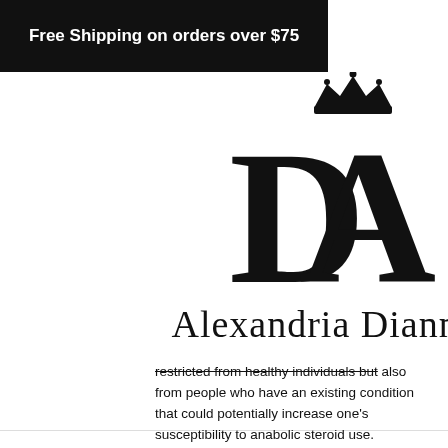Free Shipping on orders over $75
[Figure (logo): Alexandria Dianna brand logo with stylized D and A letters and crown, script text below reading 'Alexandria Dianna']
restricted from healthy individuals but also from people who have an existing condition that could potentially increase one's susceptibility to anabolic steroid use.
Cost of epidural steroid injection with insurance
If a cervical epidural steroid injection brings partial relief from your pain, you can receive another injection at a future date for additional reliefif your pain continues to come and go. Your doctor makes sure this